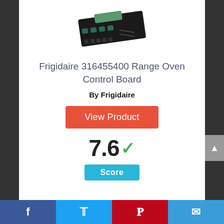[Figure (photo): Frigidaire 316455400 Range Oven Control Board product image - a black electronic control board with display]
Frigidaire 316455400 Range Oven Control Board
By Frigidaire
View Product
7.6 ✓
Score